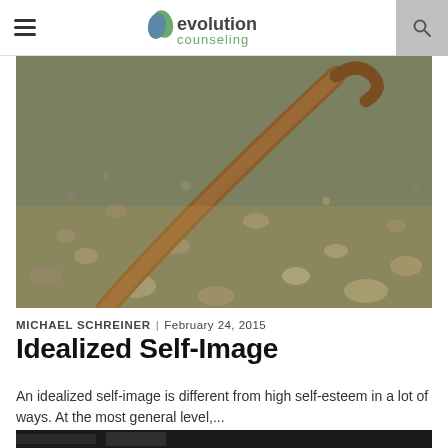evolution counseling
[Figure (photo): A twisted wooden stick or driftwood lying on a rocky pebble beach, photographed in warm golden light.]
MICHAEL SCHREINER | February 24, 2015
Idealized Self-Image
An idealized self-image is different from high self-esteem in a lot of ways. At the most general level,...
[Figure (photo): Partial view of a second article's hero image at the bottom of the page.]